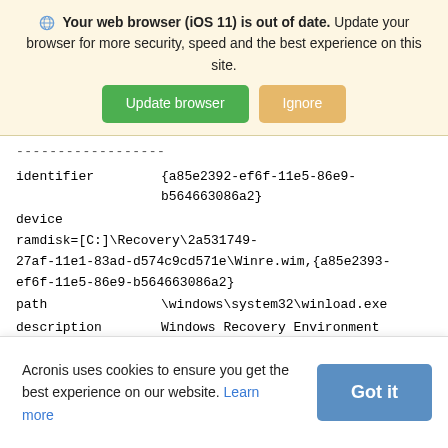Your web browser (iOS 11) is out of date. Update your browser for more security, speed and the best experience on this site.
Update browser | Ignore
identifier    {a85e2392-ef6f-11e5-86e9-b564663086a2}
device    ramdisk=[C:]\Recovery\2a531749-27af-11e1-83ad-d574c9cd571e\Winre.wim,{a85e2393-ef6f-11e5-86e9-b564663086a2}
path    \windows\system32\winload.exe
description    Windows Recovery Environment (recovered)
locale
Acronis uses cookies to ensure you get the best experience on our website. Learn more